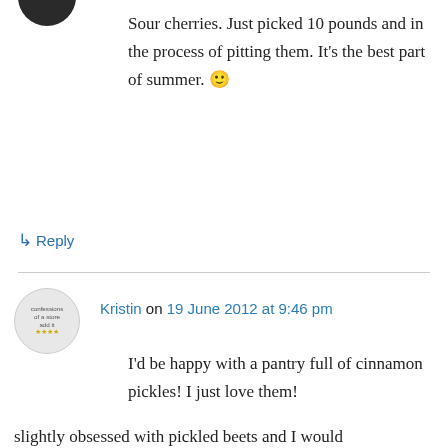[Figure (photo): Partial dark avatar/profile image at top left, cropped circle showing top portion]
Sour cherries. Just picked 10 pounds and in the process of pitting them. It's the best part of summer. 🙂
↳ Reply
[Figure (photo): Circular avatar image for user Kristin, showing a blog-style badge with text 'confessions of a store add it']
Kristin on 19 June 2012 at 9:46 pm
I'd be happy with a pantry full of cinnamon pickles! I just love them!
Privacy & Cookies: This site uses cookies. By continuing to use this website, you agree to their use.
To find out more, including how to control cookies, see here: Cookie Policy
Close and accept
slightly obsessed with pickled beets and I would